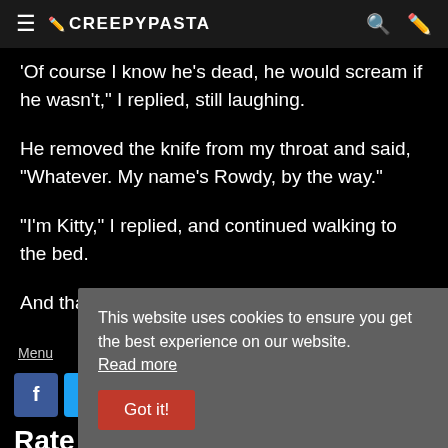CREEPYPASTA
'Of course I know he's dead, he would scream if he wasn't,' I replied, still laughing.
He removed the knife from my throat and said, "Whatever. My name's Rowdy, by the way."
"I'm Kitty," I replied, and continued walking to the bed.
And that's the story of how I met my best friend.
Menu   Search   Guess   infolinks
This website uses cookies to ensure you get the best experience on our website. Read more
Got it!
Rate